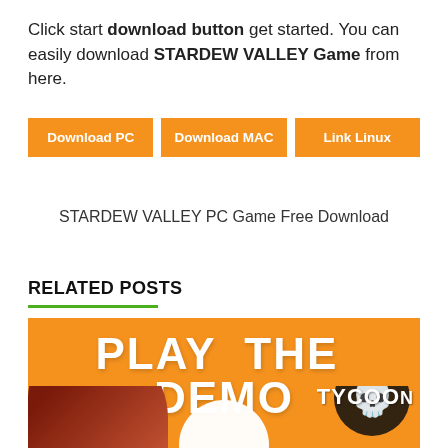Click start download button get started. You can easily download STARDEW VALLEY Game from here.
Download PC | Download MAC | Link Linux
STARDEW VALLEY PC Game Free Download
RELATED POSTS
[Figure (illustration): Orange banner image reading PLAY THE DEMO with game artwork showing a character silhouette on left, sun in background, and Cartel Tycoon skull logo on right]